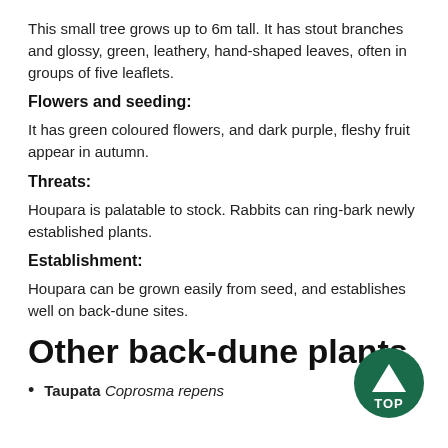This small tree grows up to 6m tall. It has stout branches and glossy, green, leathery, hand-shaped leaves, often in groups of five leaflets.
Flowers and seeding:
It has green coloured flowers, and dark purple, fleshy fruit appear in autumn.
Threats:
Houpara is palatable to stock. Rabbits can ring-bark newly established plants.
Establishment:
Houpara can be grown easily from seed, and establishes well on back-dune sites.
Other back-dune plants
Taupata Coprosma repens